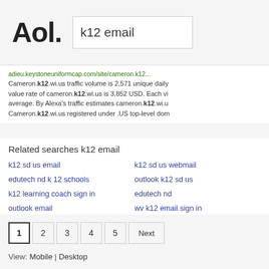AOL. | k12 email
adieu.keystoneuniformcap.com/site/cameron.k12... Cameron.k12.wi.us traffic volume is 2,571 unique daily value rate of cameron.k12.wi.us is 3,852 USD. Each vi average. By Alexa's traffic estimates cameron.k12.wi.u Cameron.k12.wi.us registered under .US top-level dom
Related searches k12 email
k12 sd us email
k12 sd us webmail
edutech nd k 12 schools
outlook k12 sd us
k12 learning coach sign in
edutech nd
outlook email
wv k12 email sign in
1  2  3  4  5  Next
View: Mobile | Desktop